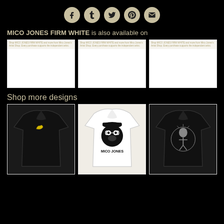[Figure (infographic): Row of 5 social media icon circles: Facebook, Tumblr, Twitter, Pinterest, Email on black background]
MICO JONES FIRM WHITE is also available on
[Figure (screenshot): Three white/cream product listing cards with small tan link text at top]
Shop more designs
[Figure (photo): Three t-shirt product photos: black tee with small banana logo, white tee with Mico Jones gorilla logo, black tee with skull/figure graphic]